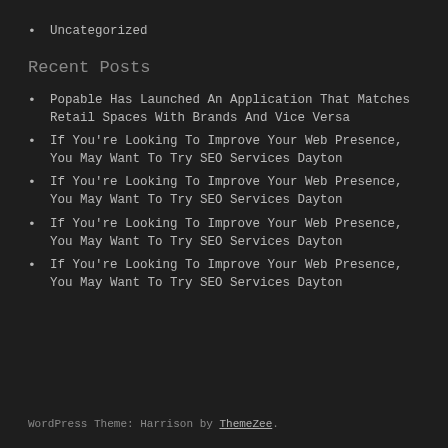Uncategorized
Recent Posts
Popable Has Launched An Application That Matches Retail Spaces With Brands And Vice Versa
If You're Looking To Improve Your Web Presence, You May Want To Try SEO Services Dayton
If You're Looking To Improve Your Web Presence, You May Want To Try SEO Services Dayton
If You're Looking To Improve Your Web Presence, You May Want To Try SEO Services Dayton
If You're Looking To Improve Your Web Presence, You May Want To Try SEO Services Dayton
WordPress Theme: Harrison by ThemeZee.